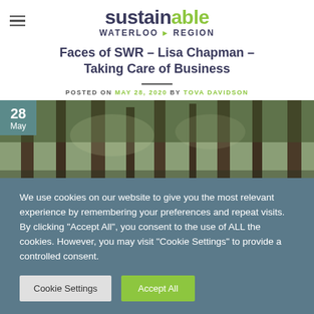sustainable WATERLOO REGION
Faces of SWR – Lisa Chapman – Taking Care of Business
POSTED ON MAY 28, 2020 BY TOVA DAVIDSON
[Figure (photo): Forest photo with date badge showing 28 May]
We use cookies on our website to give you the most relevant experience by remembering your preferences and repeat visits. By clicking "Accept All", you consent to the use of ALL the cookies. However, you may visit "Cookie Settings" to provide a controlled consent.